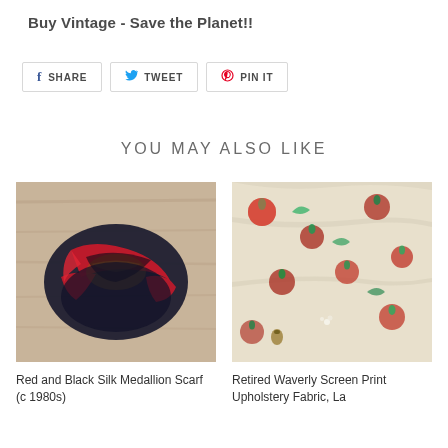Buy Vintage - Save the Planet!!
[Figure (other): Row of social sharing buttons: SHARE (Facebook), TWEET (Twitter), PIN IT (Pinterest)]
YOU MAY ALSO LIKE
[Figure (photo): Photo of a red and black silk medallion scarf bundled on a wooden surface]
[Figure (photo): Photo of retired Waverly screen print upholstery fabric with strawberry/fruit botanical print on cream background]
Red and Black Silk Medallion Scarf (c.1980s)
Retired Waverly Screen Print Upholstery Fabric, La